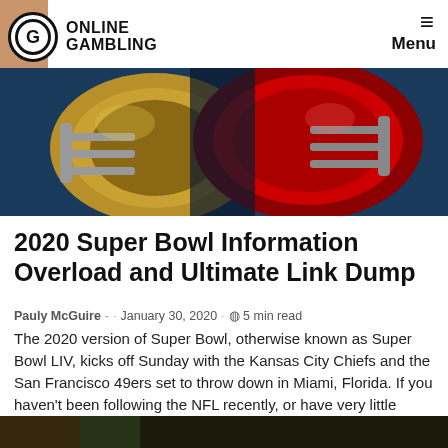ONLINE GAMBLING — Menu
[Figure (photo): Two NFL football helmets facing each other — gold/red San Francisco 49ers helmet on left and red Kansas City Chiefs helmet on right, on a blue background]
2020 Super Bowl Information Overload and Ultimate Link Dump
Pauly McGuire - · January 30, 2020 · ⊙ 5 min read
The 2020 version of Super Bowl, otherwise known as Super Bowl LIV, kicks off Sunday with the Kansas City Chiefs and the San Francisco 49ers set to throw down in Miami, Florida. If you haven't been following the NFL recently, or have very little interest in football, yet were invited [...]
[Figure (photo): Partial image at bottom of page, cut off]